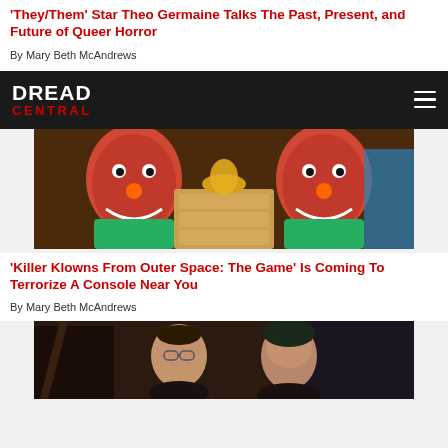'They/Them' Star Theo Germaine Talks The Past, Present, and Future of Queer Horror
By Mary Beth McAndrews
[Figure (logo): Dread Central logo — white DREAD text over red CENTRAL text on black background]
[Figure (photo): Colorful horror clown figures from Killer Klowns From Outer Space game]
'Killer Klowns From Outer Space: The Game' Is Coming To Terrorize A Console Near You
By Mary Beth McAndrews
[Figure (photo): Two people photographed in dim indoor setting, one wearing glasses]